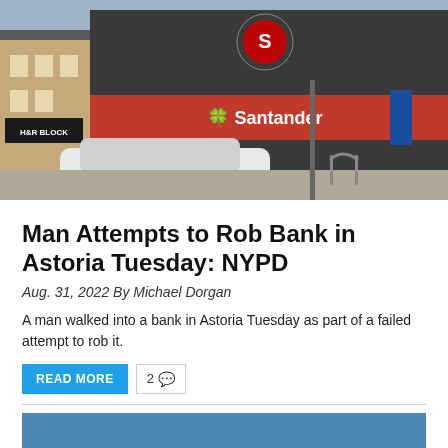[Figure (photo): Street-level photo of a Santander bank branch in Astoria, with a white car parked in front and a H&R Block visible to the left. The Santander logo and red signage are visible on the building facade.]
Man Attempts to Rob Bank in Astoria Tuesday: NYPD
Aug. 31, 2022 By Michael Dorgan
A man walked into a bank in Astoria Tuesday as part of a failed attempt to rob it.
READ MORE  2 [comment icon]
[Figure (photo): Partial blue rectangular image visible at bottom of page, cropped.]